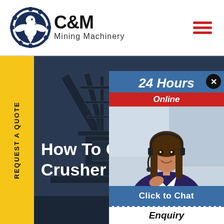[Figure (logo): C&M Mining Machinery logo with gear and eagle emblem on the left, text 'C&M' in large bold font and 'Mining Machinery' below]
[Figure (other): Hamburger menu icon with three red horizontal lines]
[Figure (photo): Dark industrial background showing mining machinery/crusher equipment with blue overlay]
REQUEST A QUOTE
How To Choose Crusher To Crus
[Figure (photo): Chat widget popup: '24 Hours Online' header in blue with red bar, female customer service agent wearing headset, 'Click to Chat' button at bottom, 'Enquiry' text below]
24 Hours Online
Click to Chat
Enquiry